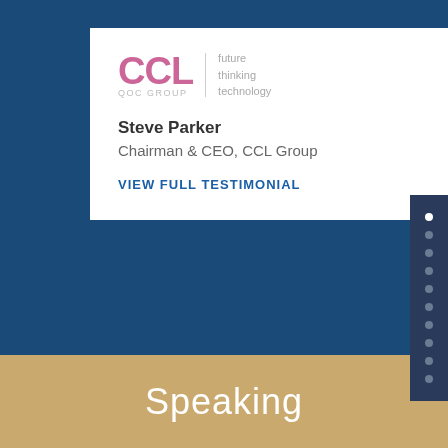[Figure (logo): CCL Group logo with tagline 'future thinking technology' and subtitle 'QOC GROUP']
Steve Parker
Chairman & CEO, CCL Group
VIEW FULL TESTIMONIAL
Speaking